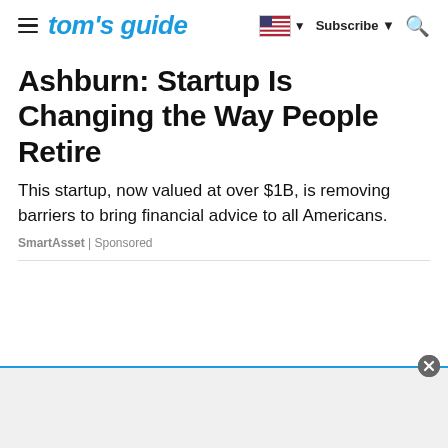tom's guide | Subscribe
Ashburn: Startup Is Changing the Way People Retire
This startup, now valued at over $1B, is removing barriers to bring financial advice to all Americans.
SmartAsset | Sponsored